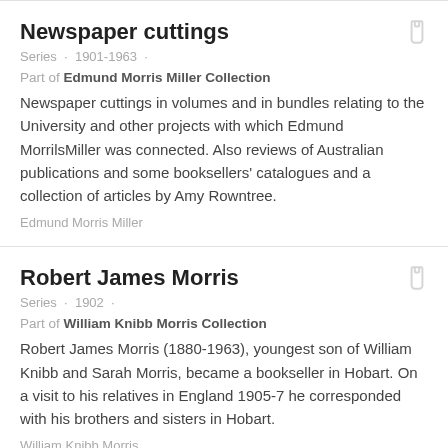Newspaper cuttings
Series · 1901-1963 ·
Part of Edmund Morris Miller Collection
Newspaper cuttings in volumes and in bundles relating to the University and other projects with which Edmund MorrilsMiller was connected. Also reviews of Australian publications and some booksellers' catalogues and a collection of articles by Amy Rowntree.
Edmund Morris Miller
Robert James Morris
Series · 1902 ·
Part of William Knibb Morris Collection
Robert James Morris (1880-1963), youngest son of William Knibb and Sarah Morris, became a bookseller in Hobart. On a visit to his relatives in England 1905-7 he corresponded with his brothers and sisters in Hobart.
William Knibb Morris
Miscellaneous
Series · 1927-1979 ·
Part of John Reynolds Collection